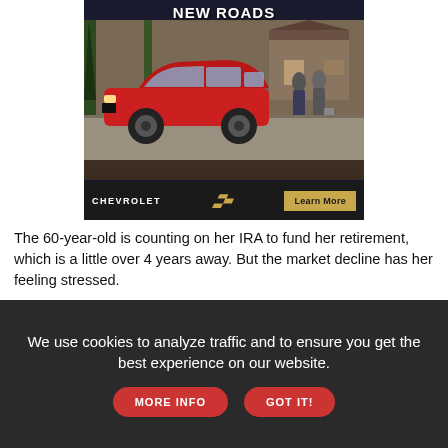[Figure (photo): Chevrolet advertisement showing a red Chevrolet SUV (Equinox) parked in a driveway with two people standing nearby, in front of a house with trees. Text reads 'NEW ROADS'. Bottom bar shows Chevrolet logo and 'Learn More' button.]
The 60-year-old is counting on her IRA to fund her retirement, which is a little over 4 years away. But the market decline has her feeling stressed.
"I do know I've lost money, but I'm trying not to freak out and look at it every day," she said.
Many soon-to-be retirees are also terrified about inflation, which can
We use cookies to analyze traffic and to ensure you get the best experience on our website. MORE INFO GOT IT!